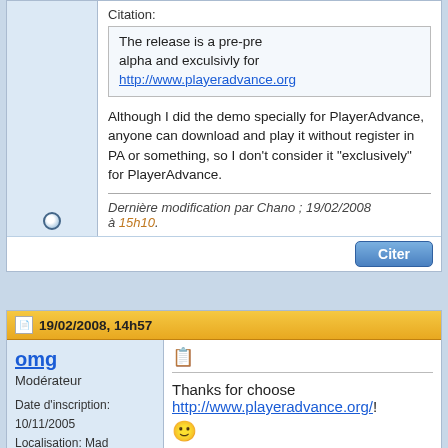Citation: The release is a pre-pre alpha and exculsivly for http://www.playeradvance.org
Although I did the demo specially for PlayerAdvance, anyone can download and play it without register in PA or something, so I don't consider it "exclusively" for PlayerAdvance.
Dernière modification par Chano ; 19/02/2008 à 15h10.
19/02/2008, 14h57
omg
Modérateur
Date d'inscription: 10/11/2005
Localisation: Mad Monster Mansion
Messages: 3 755
Thanks for choose http://www.playeradvance.org/!
News GBA/DS: Portable DEV Colorer un jeu GB? Débutant - Avancé - Expert Projets : Banjo Advance - The Last Quest - Klungo's Brain School